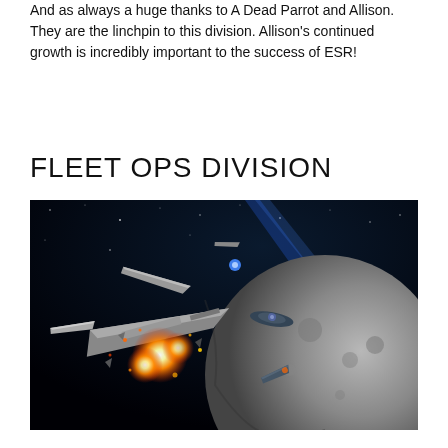And as always a huge thanks to A Dead Parrot and Allison. They are the linchpin to this division. Allison's continued growth is incredibly important to the success of ESR!
FLEET OPS DIVISION
[Figure (illustration): Space battle scene showing multiple spaceships with explosions and fire near a large moon or planet, dark space background with blue light streaks.]